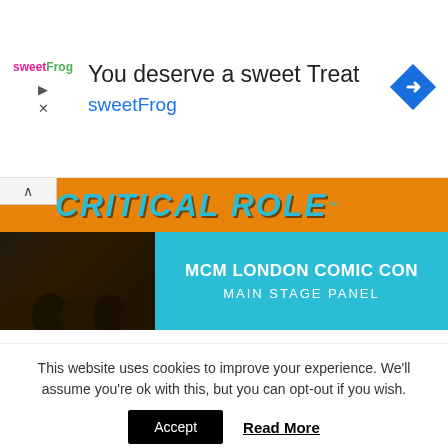[Figure (screenshot): SweetFrog advertisement banner with logo, text 'You deserve a sweet Treat' and 'sweetFrog', and a blue diamond navigation arrow icon]
[Figure (screenshot): Critical Role MCM London Comic Con Main Stage Panel banner with orange background, teal text, and crowd photo on the left]
[Figure (screenshot): YouTube video thumbnail for 'The Second Critical Role Panel Fro...' with MAIN STAGE text overlay, YouTube play button, and panel attendees visible]
This website uses cookies to improve your experience. We'll assume you're ok with this, but you can opt-out if you wish.
Accept
Read More